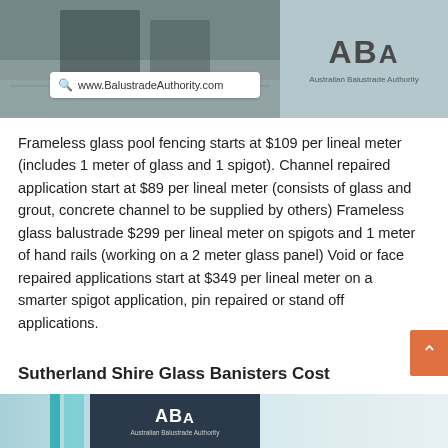[Figure (photo): Top banner image showing glass pool fencing/balustrade with search bar overlay and Australian Balustrade Authority logo]
Frameless glass pool fencing starts at $109 per lineal meter (includes 1 meter of glass and 1 spigot). Channel repaired application start at $89 per lineal meter (consists of glass and grout, concrete channel to be supplied by others) Frameless glass balustrade $299 per lineal meter on spigots and 1 meter of hand rails (working on a 2 meter glass panel) Void or face repaired applications start at $349 per lineal meter on a smarter spigot application, pin repaired or stand off applications.
Sutherland Shire Glass Banisters Cost
[Figure (logo): Australian Balustrade Authority logo with teal accent bars on bottom image]